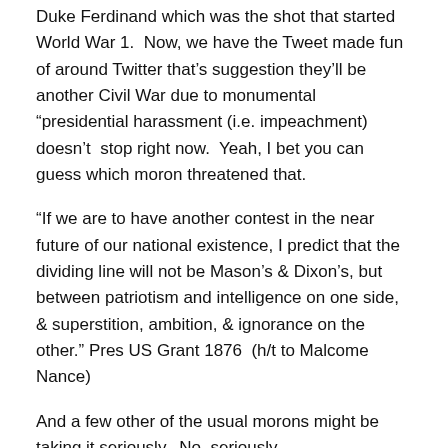Duke Ferdinand which was the shot that started World War 1.  Now, we have the Tweet made fun of around Twitter that’s suggestion they’ll be another Civil War due to monumental “presidential harassment (i.e. impeachment) doesn’t  stop right now.  Yeah, I bet you can guess which moron threatened that.
“If we are to have another contest in the near future of our national existence, I predict that the dividing line will not be Mason’s & Dixon’s, but between patriotism and intelligence on one side, & superstition, ambition, & ignorance on the other.” Pres US Grant 1876  (h/t to Malcome Nance)
And a few other of the usual morons might be taking it seriously.  No, seriously.